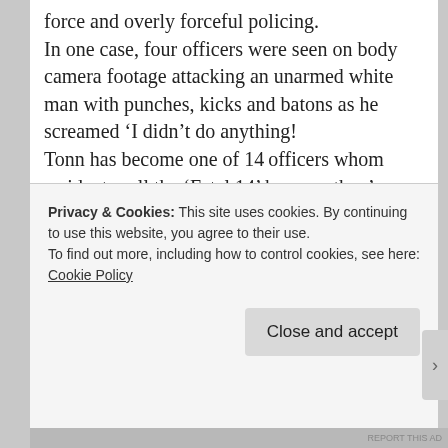force and overly forceful policing. In one case, four officers were seen on body camera footage attacking an unarmed white man with punches, kicks and batons as he screamed ‘I didn’t do anything! Tonn has become one of 14 officers whom residents call the ‘Fatal 14’ because they’ve repeatedly shot and killed civilians. Open Vallejo, an independent and nonpartisan public interest newsroom, reported that Tonn was involved in at least three other shootings dating between 2015 and 2017.
Privacy & Cookies: This site uses cookies. By continuing to use this website, you agree to their use.
To find out more, including how to control cookies, see here: Cookie Policy